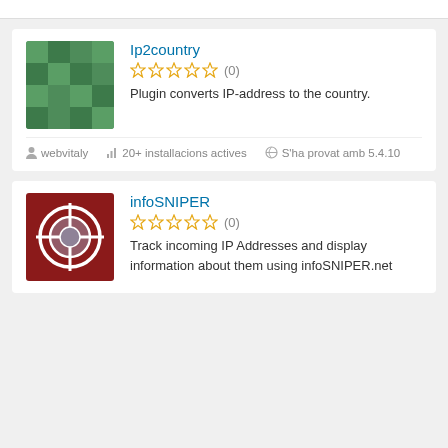[Figure (screenshot): Plugin listing card for Ip2country with green mosaic thumbnail, 0 star rating, description, and metadata]
Ip2country
Plugin converts IP-address to the country.
webvitaly
20+ installacions actives
S'ha provat amb 5.4.10
[Figure (screenshot): Plugin listing card for infoSNIPER with dark red sniper scope thumbnail, 0 star rating, and description]
infoSNIPER
Track incoming IP Addresses and display information about them using infoSNIPER.net